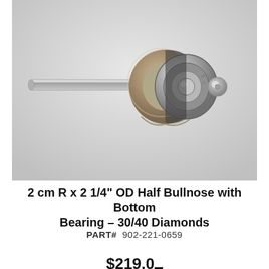[Figure (photo): Product photo of a diamond router bit: 2 cm R x 2 1/4 inch OD Half Bullnose with Bottom Bearing, 30/40 Diamonds. The tool has a long cylindrical silver shank on the left, a circular diamond-coated grinding wheel in the center, and a bearing/hub assembly on the right. Background is light gray.]
2 cm R x 2 1/4" OD Half Bullnose with Bottom Bearing – 30/40 Diamonds
PART# 902-221-0659
$219.00